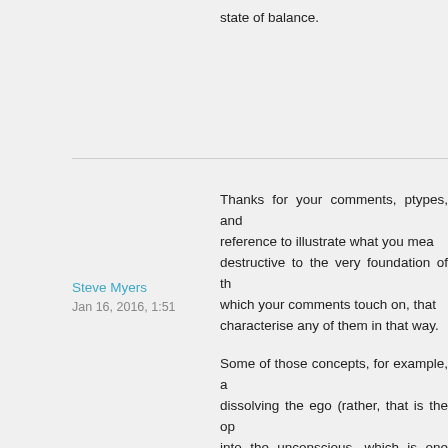state of balance.
Thanks for your comments, ptypes, and reference to illustrate what you mean. destructive to the very foundation of th which your comments touch on, that characterise any of them in that way.
Steve Myers
Jan 16, 2016, 1:51
Some of those concepts, for example, a dissolving the ego (rather, that is the op into the unconscious, which is one view about destroying the 'psyche as it is k consciousness, as the 'psyche' can't individuation is about increasing consci warnings about eastern religion were t techniques. He criticised the west for being differentiated enough – which isn ways in which east/west fail to make be